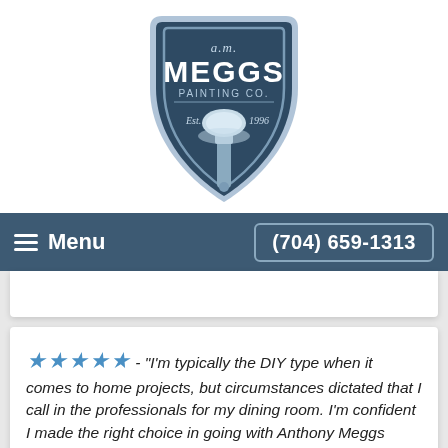[Figure (logo): A.M. Meggs Painting Co. shield logo with paintbrush, Est. 1996, blue and white color scheme]
Menu
(704) 659-1313
★★★★★ - "I'm typically the DIY type when it comes to home projects, but circumstances dictated that I call in the professionals for my dining room. I'm confident I made the right choice in going with Anthony Meggs Painting.
After getting a few quotes elsewhere, I was trying to